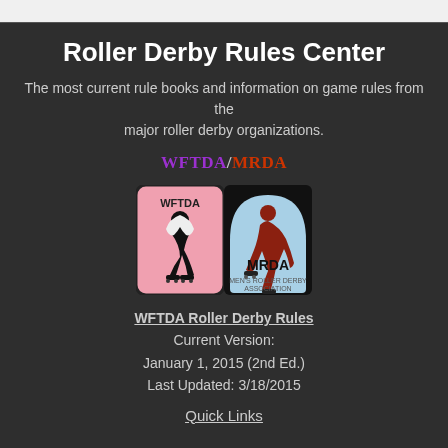Roller Derby Rules Center
The most current rule books and information on game rules from the major roller derby organizations.
WFTDA/MRDA
[Figure (logo): WFTDA logo (pink background with black silhouette of female roller derby skater) and MRDA logo (light blue background with brown/red silhouette of male skater, text MRDA)]
WFTDA Roller Derby Rules
Current Version:
January 1, 2015 (2nd Ed.)
Last Updated: 3/18/2015
Quick Links